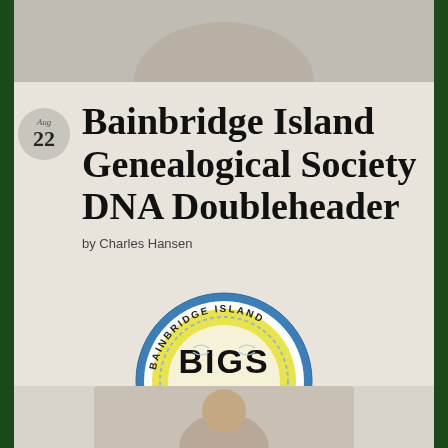[Figure (photo): Cropped top portion of a photo, partially visible at the top of the page]
Bainbridge Island Genealogical Society DNA Doubleheader
by Charles Hansen
[Figure (logo): BIGS (Bainbridge Island Genealogical Society) circular logo with blue border, yellow inner ring, DNA helix decoration, and 'BIGS' text in center]
[Figure (photo): Bottom portion of a photo showing a person, cropped at the bottom of the page]